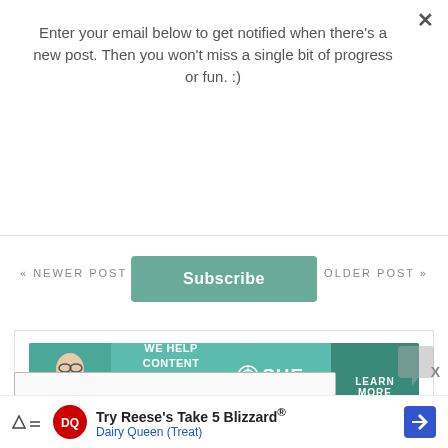Enter your email below to get notified when there's a new post. Then you won't miss a single bit of progress or fun. :)
Subscribe
« NEWER POST
OLDER POST »
[Figure (infographic): SHE Media Partner Network advertisement banner: woman with laptop on left, teal background with text 'WE HELP CONTENT CREATORS GROW BUSINESSES THROUGH...' and SHE Media logo, LEARN MORE button on right]
[Figure (infographic): Dairy Queen advertisement banner: 'Try Reese's Take 5 Blizzard® Dairy Queen (Treat)' with DQ logo and arrow icon]